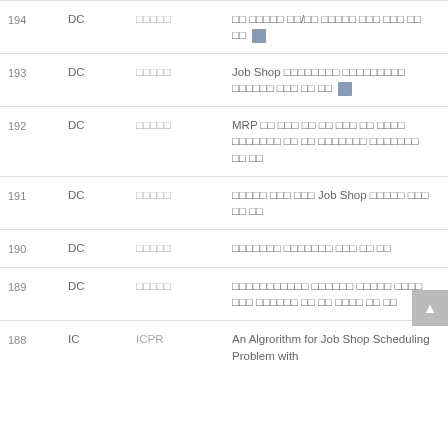| No. | Type | Venue | Title | Author |
| --- | --- | --- | --- | --- |
| 194 | DC | □□□□□ | □□ □□□□□ □□/□□ □□□□□ □□□ □□□ □□ □□ 💾 | Dosung Go |
| 193 | DC | □□□□□ | Job Shop □□□□□□□□ □□□□□□□□□ □□□□□□ □□□ □□ □□ 💾 | Dongsu Park |
| 192 | DC | □□□□□ | MRP □□ □□□ □□ □□ □□□ □□ □□□□ □□□□□□□ □□ □□ □□□□□□□ □□□□□□□ □□ □□ | Yangja ... |
| 191 | DC | □□□□□ | □□□□□ □□□ □□□ Job Shop □□□□□ □□□ □□ □□ | Daeyoung Ch |
| 190 | DC | □□□□□ | □□□□□□□ □□□□□□□ □□□ □□ □□ | Jonghan Kim |
| 189 | DC | □□□□□ | □□□□□□□□□□□ □□□□□□ □□□□□ □□□□ □□□ □□□□□□ □□ □□ □□□□ □□ □□ | Kichang Lee |
| 188 | IC | ICPR | An Algrorithm for Job Shop Scheduling Problem with | Daeyoung Ch |